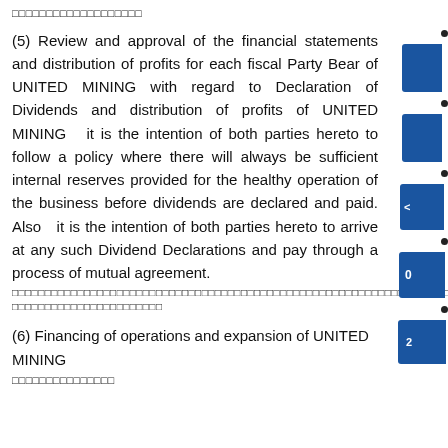□□□□□□□□□□□□□□□□□□□
(5) Review and approval of the financial statements and distribution of profits for each fiscal Party Bear of UNITED MINING with regard to Declaration of Dividends and distribution of profits of UNITED MINING   it is the intention of both parties hereto to follow a policy where there will always be sufficient internal reserves provided for the healthy operation of the business before dividends are declared and paid.  Also   it is the intention of both parties hereto to arrive at any such Dividend Declarations and pay through a process of mutual agreement.
□□□□□□□□□□□□□□□□□□□□□□□□□□□□□□□□□□□□□□□□□□□□□□□□□□□□□□□□□□□□□□□□□□□□□□□□□□□□□□□□□□□□□□□□□□□□□□□□□□□□□□□□□□□□□□□□□□□□□□□□□□□□□□□□□□□□□□□□□□□□□□□□□□□□□□□□□□□□□□□□□□□□□□□□□□□□□□□□□□□□□□□□□□□□□□□□□□□□□□□□□□□□□□□□□□□□□□□□□□□□□□□□□□□□□□□□□□□□□□□□□□□□□□□□□□□□□□□□□□□□□□□□□□□□□□□□□□□□□□□□□□□□□□□□□□□□□□□□□□□□□□□□□□□□□□□□□□□□□□□□□□□□□
(6) Financing of operations and expansion of UNITED MINING
□□□□□□□□□□□□□□□